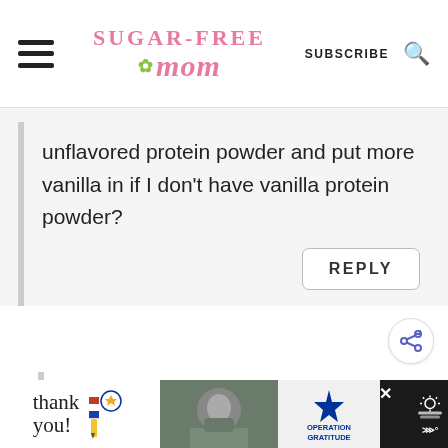Sugar-Free Mom — SUBSCRIBE
unflavored protein powder and put more vanilla in if I don't have vanilla protein powder?
REPLY
Brenda
March 09, 2016 at 4:32 pm
[Figure (other): Advertisement banner: Thank you military appreciation ad with Operation Gratitude logo]
✕
⋙°